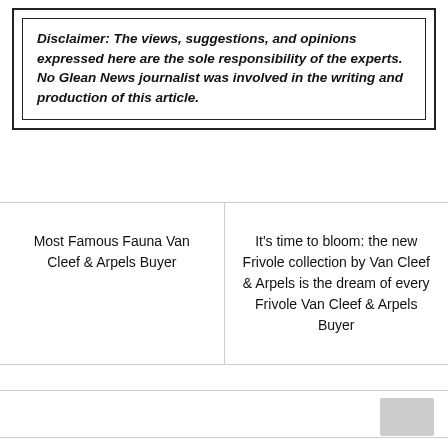Disclaimer: The views, suggestions, and opinions expressed here are the sole responsibility of the experts. No Glean News journalist was involved in the writing and production of this article.
Most Famous Fauna Van Cleef & Arpels Buyer
It's time to bloom: the new Frivole collection by Van Cleef & Arpels is the dream of every Frivole Van Cleef & Arpels Buyer